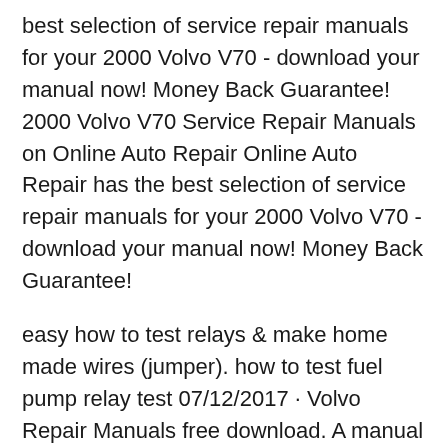best selection of service repair manuals for your 2000 Volvo V70 - download your manual now! Money Back Guarantee! 2000 Volvo V70 Service Repair Manuals on Online Auto Repair Online Auto Repair has the best selection of service repair manuals for your 2000 Volvo V70 - download your manual now! Money Back Guarantee!
easy how to test relays & make home made wires (jumper). how to test fuel pump relay test 07/12/2017 · Volvo Repair Manuals free download. A manual in English for repair and maintenance, including road repair and fault diagnosis, applicable to Volvo cars of all modifications equipped with gasoline engines.